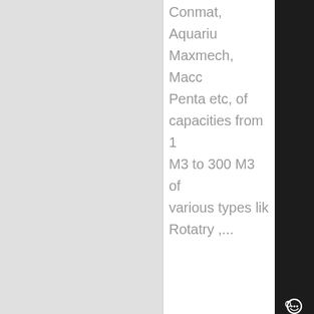Conmat, Aquarius, Maxmech, Macons, Penta etc, of capacities from 1 M3 to 300 M3 of various types like Rotatry ,...
Know More
[Figure (photo): Industrial facility interior showing a large vertical cylindrical structure with scaffolding and construction equipment]
10 Belt Conveyor Types & 5 Types of Conveyor Belt ,
Trough Belt